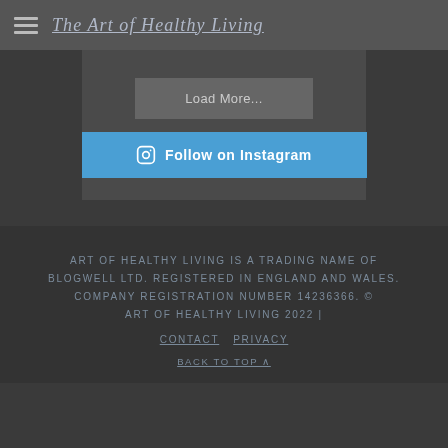The Art of Healthy Living
Load More...
Follow on Instagram
ART OF HEALTHY LIVING IS A TRADING NAME OF BLOGWELL LTD. REGISTERED IN ENGLAND AND WALES. COMPANY REGISTRATION NUMBER 14236366. © ART OF HEALTHY LIVING 2022 | CONTACT   PRIVACY
BACK TO TOP ∧